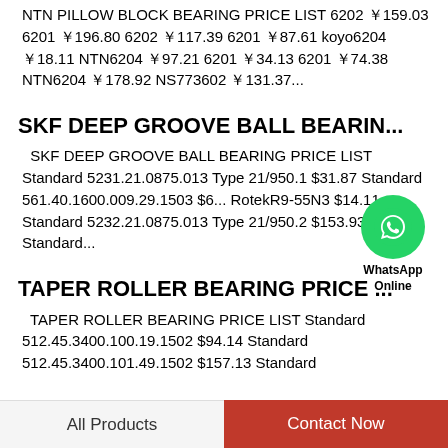NTN PILLOW BLOCK BEARING PRICE LIST 6202 ￥159.03 6201 ￥196.80 6202 ￥117.39 6201 ￥87.61 koyo6204 ￥18.11 NTN6204 ￥97.21 6201 ￥34.13 6201 ￥74.38 NTN6204 ￥178.92 NS773602 ￥131.37...
SKF DEEP GROOVE BALL BEARIN...
SKF DEEP GROOVE BALL BEARING PRICE LIST Standard 5231.21.0875.013 Type 21/950.1 $31.87 Standard 561.40.1600.009.29.1503 $6... RotekR9-55N3 $14.11 Standard 5232.21.0875.013 Type 21/950.2 $153.93 Standard...
[Figure (logo): WhatsApp green circle icon with phone handset, labeled WhatsApp Online]
TAPER ROLLER BEARING PRICE ...
TAPER ROLLER BEARING PRICE LIST Standard 512.45.3400.100.19.1502 $94.14 Standard 512.45.3400.101.49.1502 $157.13 Standard
All Products   Contact Now